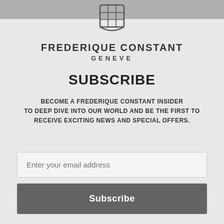FREDERIQUE CONSTANT GENEVE
[Figure (logo): Frederique Constant grid/shield logo in dark outline]
FREDERIQUE CONSTANT
GENEVE
SUBSCRIBE
BECOME A FREDERIQUE CONSTANT INSIDER TO DEEP DIVE INTO OUR WORLD AND BE THE FIRST TO RECEIVE EXCITING NEWS AND SPECIAL OFFERS.
Enter your email address
Subscribe